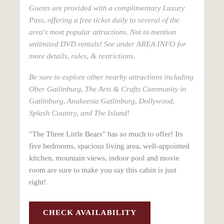Guests are provided with a complimentary Luxury Pass, offering a free ticket daily to several of the area's most popular attractions. Not to mention unlimited DVD rentals! See under AREA INFO for more details, rules, & restrictions.
Be sure to explore other nearby attractions including Ober Gatlinburg, The Arts & Crafts Community in Gatlinburg, Anakeesta Gatlinburg, Dollywood, Splash Country, and The Island!
“The Three Little Bears” has so much to offer! Its five bedrooms, spacious living area, well-appointed kitchen, mountain views, indoor pool and movie room are sure to make you say this cabin is just right!
CHECK AVAILABILITY